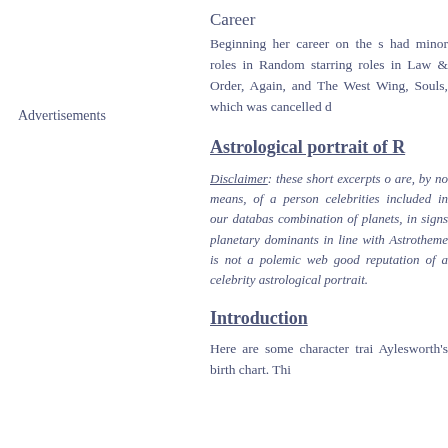Advertisements
Career
Beginning her career on the s had minor roles in Random starring roles in Law & Order, Again, and The West Wing, Souls, which was cancelled d
Astrological portrait of R
Disclaimer: these short excerpts o are, by no means, of a person celebrities included in our databas combination of planets, in signs planetary dominants in line with Astrotheme is not a polemic web good reputation of a celebrity astrological portrait.
Introduction
Here are some character trai Aylesworth's birth chart. Thi